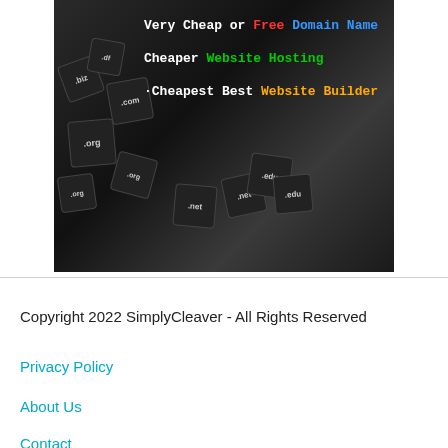[Figure (illustration): Black and white photo of domain name extension cubes (.biz, .com, .org, .net, .edu) spilling from a basket, with colored text overlay advertising: 'Very Cheap or Free Domain Name', 'Cheaper Website Hosting', 'Cheapest Best Website Builder']
Copyright 2022 SimplyCleaver - All Rights Reserved
Privacy Policy
About Us
Contact